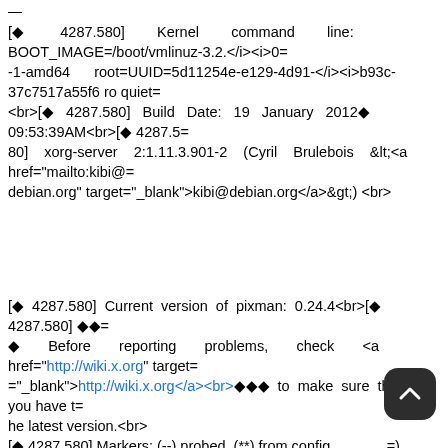[? 4287.580] Kernel command line: BOOT_IMAGE=/boot/vmlinuz-3.2.</i><i>0= -1-amd64 root=UUID=5d11254e-e129-4d91-</i><i>b93c-37c7517a55f6 ro quiet= <br>[? 4287.580] Build Date: 19 January 2012? 09:53:39AM<br>[? 4287.5= 80] xorg-server 2:1.11.3.901-2 (Cyril Brulebois &lt;<a href="mailto:kibi@=debian.org" target="_blank">kibi@debian.org</a>&gt;) <br>
[? 4287.580] Current version of pixman: 0.24.4<br>[? 4287.580] ??= ? Before reporting problems, check <a href="http://wiki.x.org" target="_blank">http://wiki.x.org</a><br>??? to make sure that you have t= he latest version.<br> [? 4287.580] Markers: (--) probed, (**) from config =